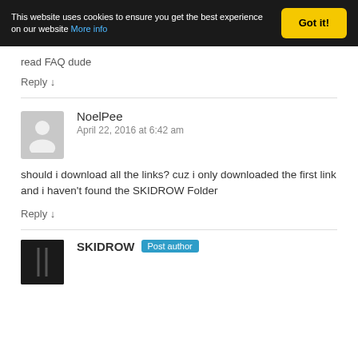This website uses cookies to ensure you get the best experience on our website More info  Got it!
read FAQ dude
Reply ↓
NoelPee
April 22, 2016 at 6:42 am
should i download all the links? cuz i only downloaded the first link and i haven't found the SKIDROW Folder
Reply ↓
SKIDROW  Post author